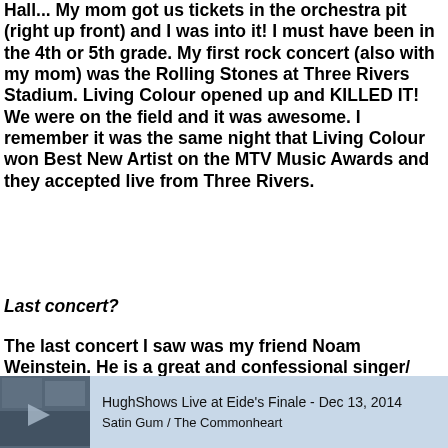Hall... My mom got us tickets in the orchestra pit (right up front) and I was into it! I must have been in the 4th or 5th grade. My first rock concert (also with my mom) was the Rolling Stones at Three Rivers Stadium. Living Colour opened up and KILLED IT! We were on the field and it was awesome. I remember it was the same night that Living Colour won Best New Artist on the MTV Music Awards and they accepted live from Three Rivers.
Last concert?
The last concert I saw was my friend Noam Weinstein. He is a great and confessional singer/songwriter from Boston. I saw him at the Elbo Room in Chicago last week.
HughShows Live at Eide's Finale - Dec 13, 2014
Satin Gum / The Commonheart